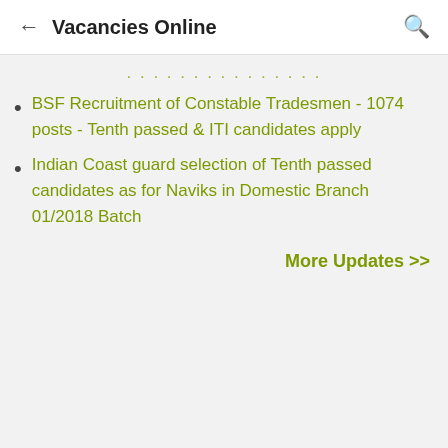Vacancies Online
BSF Recruitment of Constable Tradesmen - 1074 posts - Tenth passed & ITI candidates apply
Indian Coast guard selection of Tenth passed candidates as for Naviks in Domestic Branch 01/2018 Batch
More Updates >>